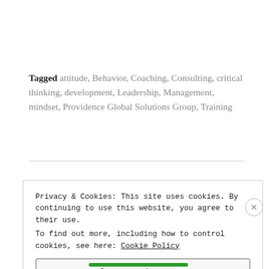Tagged attitude, Behavior, Coaching, Consulting, critical thinking, development, Leadership, Management, mindset, Providence Global Solutions Group, Training
Privacy & Cookies: This site uses cookies. By continuing to use this website, you agree to their use. To find out more, including how to control cookies, see here: Cookie Policy
Close and accept